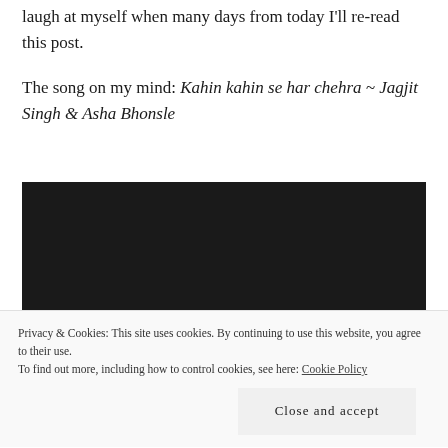laugh at myself when many days from today I'll re-read this post.
The song on my mind: Kahin kahin se har chehra ~ Jagjit Singh & Asha Bhonsle
[Figure (other): Embedded video player with black background]
Privacy & Cookies: This site uses cookies. By continuing to use this website, you agree to their use.
To find out more, including how to control cookies, see here: Cookie Policy
Close and accept